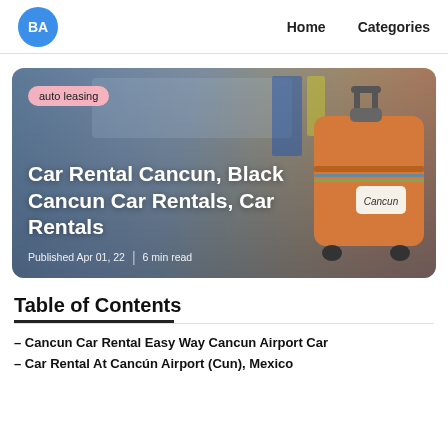BA  Home  Categories
[Figure (photo): Hero image of an airport interior with a traveler's orange suitcase with a Cancun tag, blurred airport background. Overlaid tag reads 'auto leasing'. Title: 'Car Rental Cancun, Black Cancun Car Rentals, Car Rentals'. Meta: 'Published Apr 01, 22 | 6 min read']
Table of Contents
– Cancun Car Rental Easy Way Cancun Airport Car
– Car Rental At Cancún Airport (Cun), Mexico